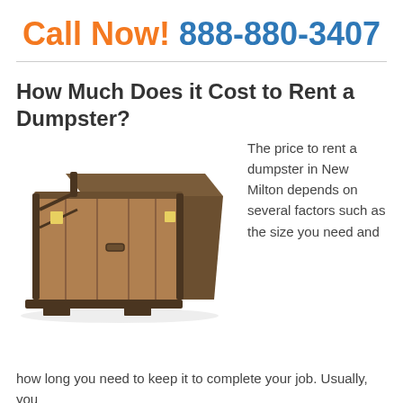Call Now! 888-880-3407
How Much Does it Cost to Rent a Dumpster?
[Figure (photo): A large brown roll-off dumpster container on a white background]
The price to rent a dumpster in New Milton depends on several factors such as the size you need and how long you need to keep it to complete your job. Usually, you